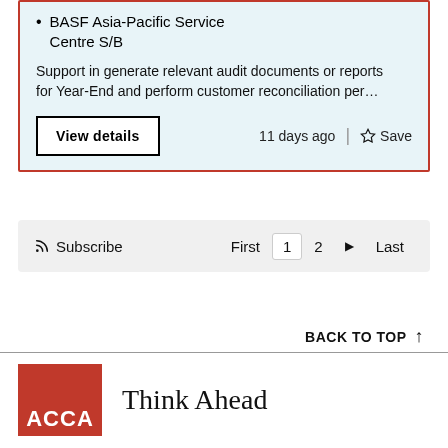BASF Asia-Pacific Service Centre S/B
Support in generate relevant audit documents or reports for Year-End and perform customer reconciliation per…
View details  11 days ago  Save
Subscribe  First  1  2  ▶  Last
BACK TO TOP ↑
[Figure (logo): ACCA logo - red square with white ACCA text]
Think Ahead